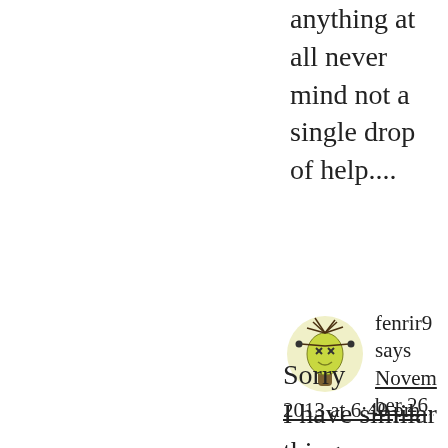anything at all never mind not a single drop of help....
[Figure (illustration): A cartoon avatar of a small green creature with wild hair and X eyes, standing on a trunk, inside a light yellow oval background.]
fenrir9 says November 26, 2013 at 6:40 pm
Sorry
I have similar things happen,